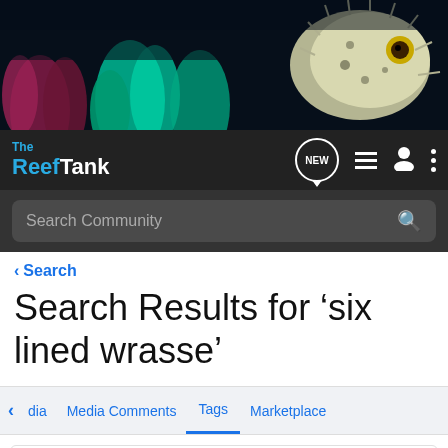[Figure (photo): Banner photo of colorful coral reef with a pufferfish visible on the right side against a dark background]
The Reef Tank — navigation bar with logo, NEW chat icon, list icon, person icon, and more options icon
Search Community
< Search
Search Results for ‘six lined wrasse’
< dia   Media Comments   Tags   Marketplace
Search Tags